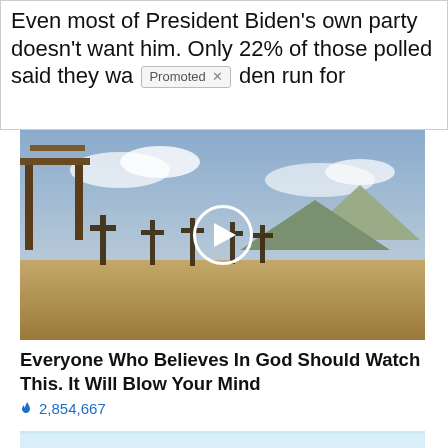Even most of President Biden's own party doesn't want him. Only 22% of those polled said they wa [Promoted X] den run for
[Figure (photo): Cemetery with crosses under cloudy sky, video thumbnail with play button overlay]
Everyone Who Believes In God Should Watch This. It Will Blow Your Mind
🔥 2,854,667
[Figure (photo): Light blue inflatable ring-shaped wearable product (Eddie device) on white background]
Treat ED With Eddie — The Proven, Comfortable Wearable That Comes With A Satisfaction Guarantee
🔥 161,515